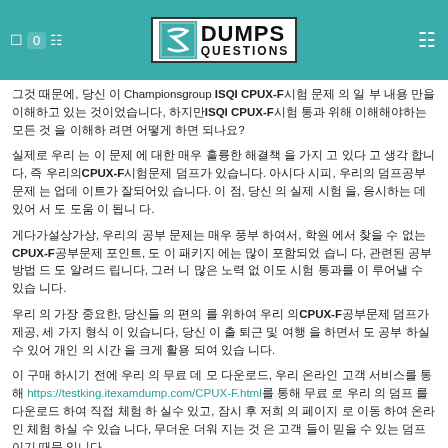DumpsQuestions logo header with navigation
그것 때문에, 당신 이 Championsgroup ISQI CPUX-F시험 문제 의 일 부 내용 만을 이해하고 있는 것이었습니다, 하지만ISQI CPUX-F시험 통과 위해 이해해야하는 모든 것 을 이해하 려면 어떻게 하면 되나요?
실제로 우리 는 이 문제 에 대한 매우 훌륭한 해결책 을 가지 고 있다 고 생각 합니다, 즉 우리의CPUX-F시험문제 덤프가 있습니다. 아시다 시피, 우리의 덤프공부 문제 는 업데 이트가 잘되어있 습니다. 이 점, 당신 의 실제 시험 을, 응시하는 데 있어 서 도 도움 이 됩니 다.
게다가설상가상, 우리의 공부 문제는 매우 풍부 하여서, 학원 에서 찾을 수 없는CPUX-F공부문제 포인트, 도 이 패키지 에는 많이 포함되었 습니 다, 관련된 공부 방법 드 도 알려드 립니다, 그러 니 많은 노력 없 이도 시험 통과를 이 루어낼 수 있습 니다.
우리 의 가장 중요한, 당신들 의 편의 를 위하여 우리 의CPUX-F공부문제 덤프가 제공, 세 가지 형식 이 있습니다, 당신 이 출 퇴근 및 여행 을 하면서 도 공부 하실 수 있어 개인 의 시간 을 크게 활용 되여 있습 니다.
이 구매 하시기 전에 우리 의 무료 데 모 다운로드, 우리 온라인 고객 서비스를 통해 https://testking.itexamdump.com/CPUX-F.html를 통해 무료 로 우리 의 덤프 를 다운로드 하여 직접 체험 하 실수 있고, 잠시 후 저희 의 페이지 로 이동 하여 온라 인 체험 하실 수 있습 니다, 무더운 더워 지는 것 은 고객 들이 믿을 수 있는 덤프 이기 때문 입니다.